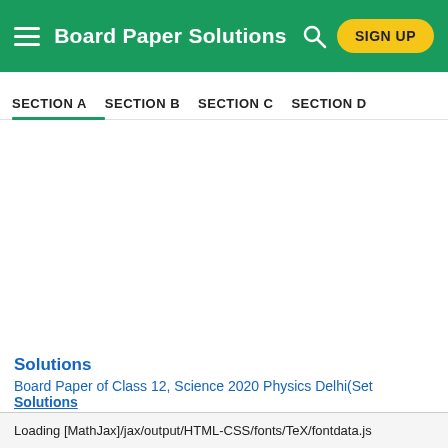Board Paper Solutions
SECTION A | SECTION B | SECTION C | SECTION D
Solutions
Board Paper of Class 12, Science 2020 Physics Delhi(Set 3) - Solutions
Loading [MathJax]/jax/output/HTML-CSS/fonts/TeX/fontdata.js